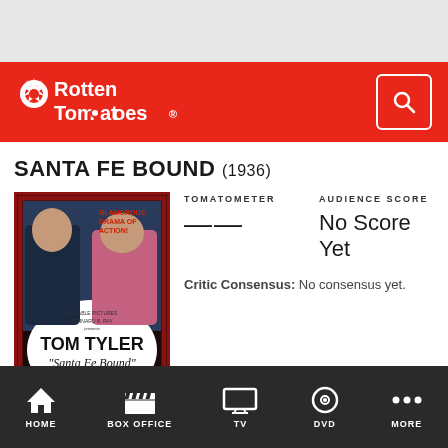[Figure (logo): Rotten Tomatoes logo in white on red background with search icon]
SANTA FE BOUND (1936)
[Figure (photo): Movie poster for Santa Fe Bound (1936) featuring Tom Tyler and Santa Fe Bound title, with couple embracing and text 'Glamorous Drama of Action!', Reliable Pictures, Bernard B. Ray, with Jeanne Martel, Richard Kramer]
TOMATOMETER
——
AUDIENCE SCORE
No Score Yet
Critic Consensus: No consensus yet.
HOME   BOX OFFICE   TV   DVD   MORE